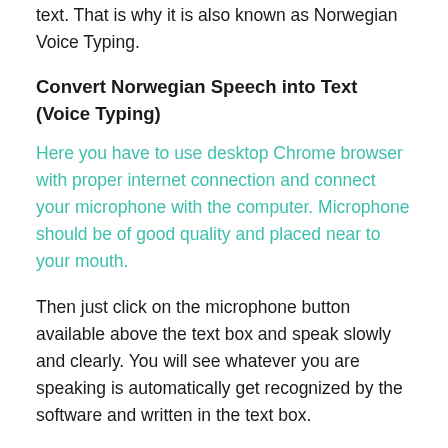text. That is why it is also known as Norwegian Voice Typing.
Convert Norwegian Speech into Text (Voice Typing)
Here you have to use desktop Chrome browser with proper internet connection and connect your microphone with the computer. Microphone should be of good quality and placed near to your mouth.
Then just click on the microphone button available above the text box and speak slowly and clearly. You will see whatever you are speaking is automatically get recognized by the software and written in the text box.